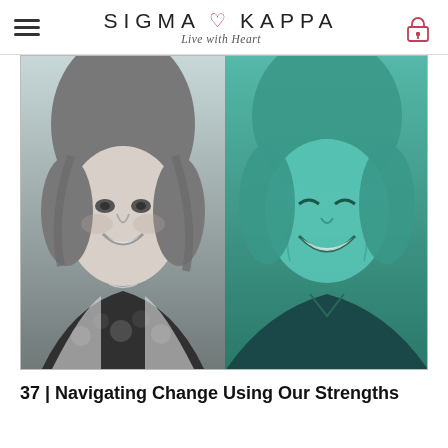SIGMA KAPPA — Live with Heart
[Figure (photo): Two women smiling side by side. Left photo is black and white showing a young woman with long wavy hair wearing a floral top and white blazer. Right photo has a teal/green overlay showing an older woman with short blonde hair smiling broadly.]
37 | Navigating Change Using Our Strengths